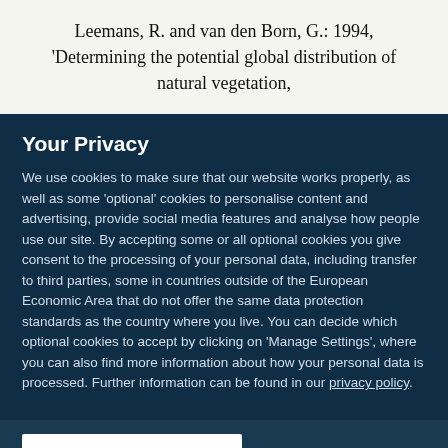Leemans, R. and van den Born, G.: 1994, 'Determining the potential global distribution of natural vegetation,
Your Privacy
We use cookies to make sure that our website works properly, as well as some 'optional' cookies to personalise content and advertising, provide social media features and analyse how people use our site. By accepting some or all optional cookies you give consent to the processing of your personal data, including transfer to third parties, some in countries outside of the European Economic Area that do not offer the same data protection standards as the country where you live. You can decide which optional cookies to accept by clicking on 'Manage Settings', where you can also find more information about how your personal data is processed. Further information can be found in our privacy policy.